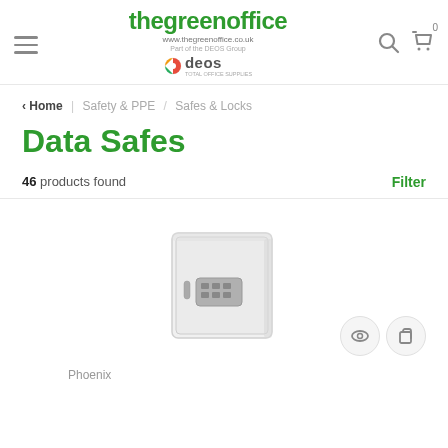[Figure (logo): The Green Office logo with recycling symbol, www.thegreenoffice.co.uk URL, Part of the DEOS Group text, and DEOS colorful logo]
Home | Safety & PPE / Safes & Locks
Data Safes
46 products found   Filter
[Figure (photo): White fire data safe with electronic keypad lock - Phoenix brand]
Phoenix